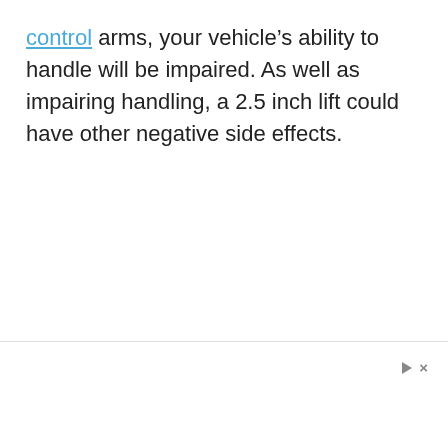control arms, your vehicle's ability to handle will be impaired. As well as impairing handling, a 2.5 inch lift could have other negative side effects.
▷ ×